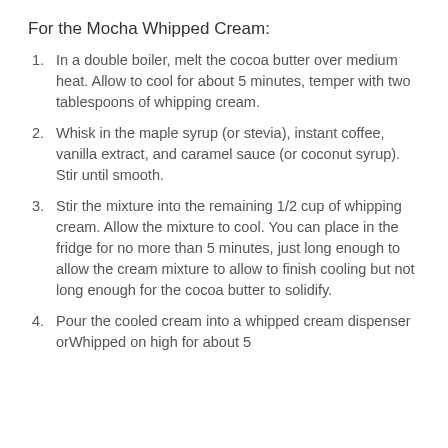For the Mocha Whipped Cream:
In a double boiler, melt the cocoa butter over medium heat. Allow to cool for about 5 minutes, temper with two tablespoons of whipping cream.
Whisk in the maple syrup (or stevia), instant coffee, vanilla extract, and caramel sauce (or coconut syrup). Stir until smooth.
Stir the mixture into the remaining 1/2 cup of whipping cream. Allow the mixture to cool. You can place in the fridge for no more than 5 minutes, just long enough to allow the cream mixture to allow to finish cooling but not long enough for the cocoa butter to solidify.
Pour the cooled cream into a whipped cream dispenser orWhipped on high for about 5...